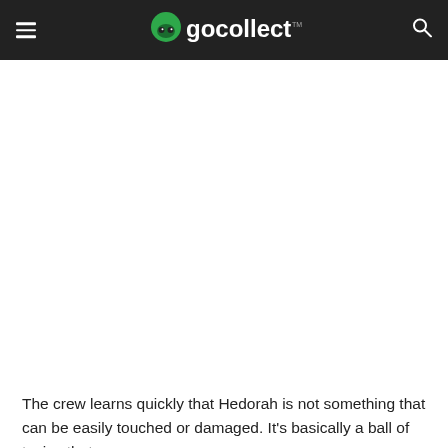gocollect
[Figure (other): White blank content area (image not loaded)]
The crew learns quickly that Hedorah is not something that can be easily touched or damaged. It's basically a ball of toxins that